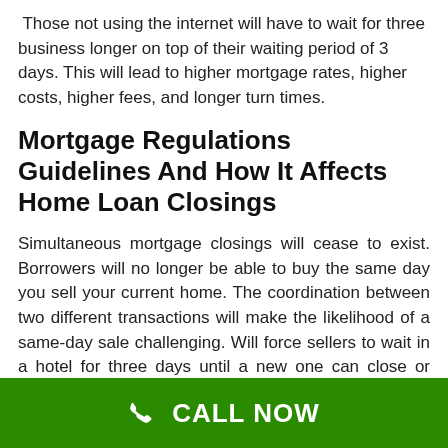Those not using the internet will have to wait for three business longer on top of their waiting period of 3 days. This will lead to higher mortgage rates, higher costs, higher fees, and longer turn times.
Mortgage Regulations Guidelines And How It Affects Home Loan Closings
Simultaneous mortgage closings will cease to exist. Borrowers will no longer be able to buy the same day you sell your current home. The coordination between two different transactions will make the likelihood of a same-day sale challenging. Will force sellers to wait in a hotel for three days until a new one can close or longer assuming everything is perfect which it hardly ever is.
CALL NOW